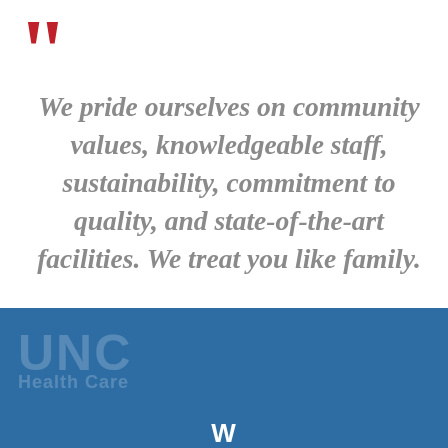[Figure (illustration): Large red opening double quotation mark decorative element in top-left corner]
We pride ourselves on community values, knowledgeable staff, sustainability, commitment to quality, and state-of-the-art facilities. We treat you like family.
[Figure (logo): Blue band at bottom with faint UNC-style logo text and partial white bold text visible at bottom edge]